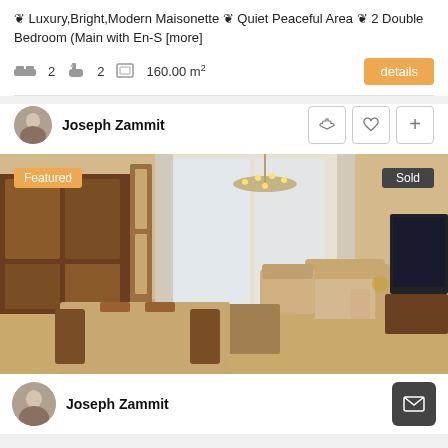✦ Luxury,Bright,Modern Maisonette ✦ Quiet Peaceful Area ✦ 2 Double Bedroom (Main with En-S [more]
🛏 2   🛁 2   □ 160.00 m²
Joseph Zammit
[Figure (photo): Interior photo of a furnished living and dining room with chandelier, wooden furniture, armchairs, and a TV. Tagged 'Featured' (top left) and 'Sold' (top right).]
Joseph Zammit